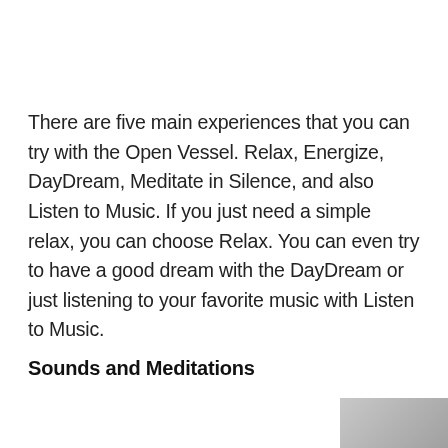There are five main experiences that you can try with the Open Vessel. Relax, Energize, DayDream, Meditate in Silence, and also Listen to Music. If you just need a simple relax, you can choose Relax. You can even try to have a good dream with the DayDream or just listening to your favorite music with Listen to Music.
Sounds and Meditations